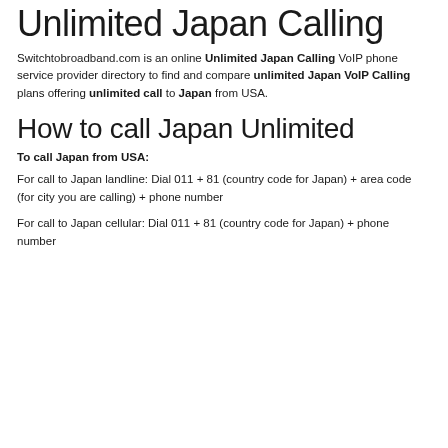Unlimited Japan Calling
Switchtobroadband.com is an online Unlimited Japan Calling VoIP phone service provider directory to find and compare unlimited Japan VoIP Calling plans offering unlimited call to Japan from USA.
How to call Japan Unlimited
To call Japan from USA:
For call to Japan landline: Dial 011 + 81 (country code for Japan) + area code (for city you are calling) + phone number
For call to Japan cellular: Dial 011 + 81 (country code for Japan) + phone number